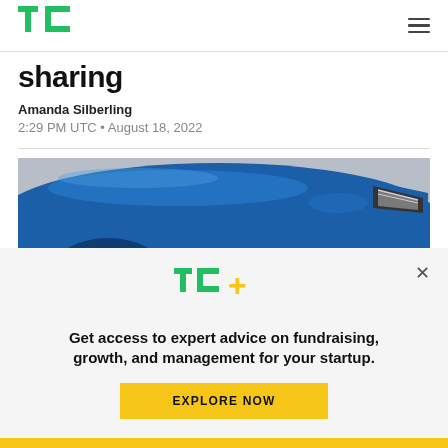TechCrunch header with logo and navigation
sharing
Amanda Silberling
2:29 PM UTC • August 18, 2022
[Figure (photo): Close-up photo of a blue car, showing the front wheel, fender, and headlight area against a light gray background.]
[Figure (other): TC+ subscription modal overlay with logo, promotional text, and Explore Now button]
Get access to expert advice on fundraising, growth, and management for your startup.
EXPLORE NOW